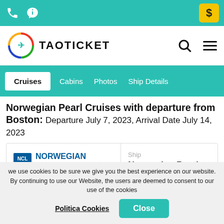TAOTICKET
Cruises  Cabins  Photos  Ship Details
Norwegian Pearl Cruises with departure from Boston: Departure July 7, 2023, Arrival Date July 14, 2023
[Figure (logo): Norwegian Cruise Line (NCL) logo]
Ship
Norwegian Pearl
we use cookies to be sure we give you the best experience on our website. By continuing to use our Website, the users are deemed to consent to our use of the cookies
Politica Cookies  Close